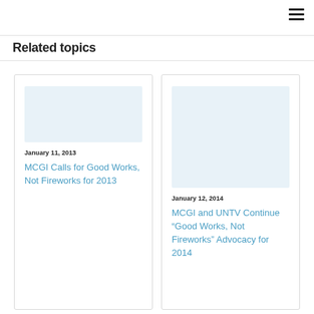Related topics
January 11, 2013
MCGI Calls for Good Works, Not Fireworks for 2013
January 12, 2014
MCGI and UNTV Continue “Good Works, Not Fireworks” Advocacy for 2014